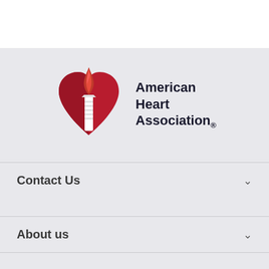[Figure (logo): American Heart Association logo: red heart with torch and flame, next to the text 'American Heart Association.' in bold dark font]
Contact Us
About us